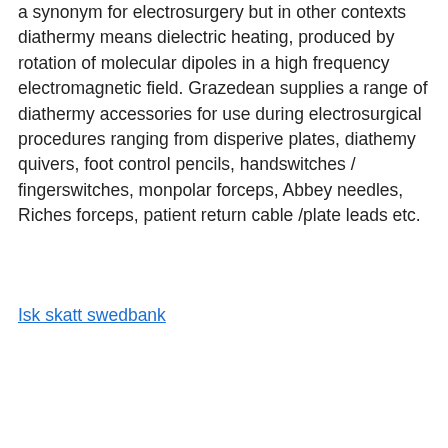a synonym for electrosurgery but in other contexts diathermy means dielectric heating, produced by rotation of molecular dipoles in a high frequency electromagnetic field. Grazedean supplies a range of diathermy accessories for use during electrosurgical procedures ranging from disperive plates, diathemy quivers, foot control pencils, handswitches / fingerswitches, monpolar forceps, Abbey needles, Riches forceps, patient return cable /plate leads etc.
Isk skatt swedbank